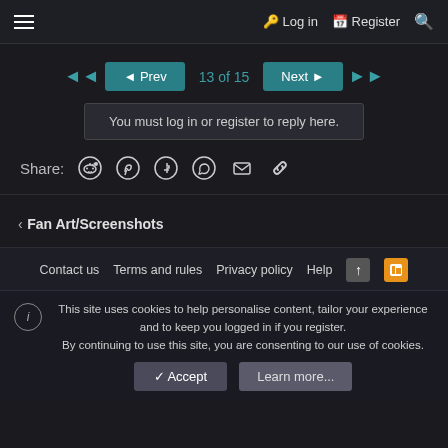≡  Log in  Register 🔍
[Figure (screenshot): Pagination controls showing Prev button, '13 of 15' page indicator, Next button, and double arrow navigation buttons]
You must log in or register to reply here.
Share: [Reddit] [Pinterest] [Tumblr] [WhatsApp] [Email] [Link]
< Fan Art/Screenshots
Contact us  Terms and rules  Privacy policy  Help  ↑  [RSS]
This site uses cookies to help personalise content, tailor your experience and to keep you logged in if you register. By continuing to use this site, you are consenting to our use of cookies.
✓ Accept   Learn more...